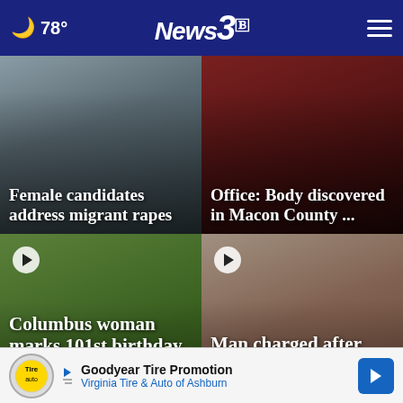☾ 78° News 3
[Figure (photo): Blurred background photo for female candidates story]
Female candidates address migrant rapes
[Figure (photo): Dark red background photo for Macon County body story]
Office: Body discovered in Macon County ...
[Figure (photo): Outdoor trees and tents photo for Columbus woman birthday story]
Columbus woman marks 101st birthday sur... by...
[Figure (photo): Close-up photo of man with glasses for missing person story]
Man charged after miss×g ...his
Goodyear Tire Promotion — Virginia Tire & Auto of Ashburn